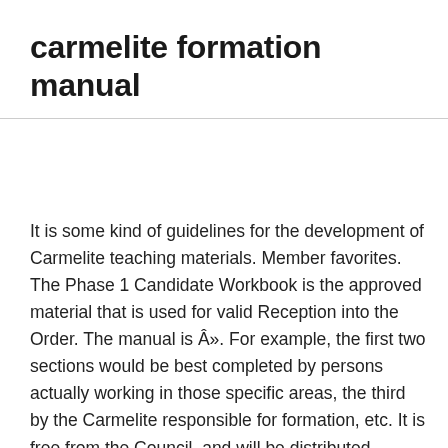carmelite formation manual
It is some kind of guidelines for the development of Carmelite teaching materials. Member favorites. The Phase 1 Candidate Workbook is the approved material that is used for valid Reception into the Order. The manual is Â». For example, the first two sections would be best completed by persons actually working in those specific areas, the third by the Carmelite responsible for formation, etc. It is free from the Council, and will be distributed following social distancing protocols. We … Under the guidance of the Formation Director, they are provided with instructions which will deepen their prayer life, their sense of